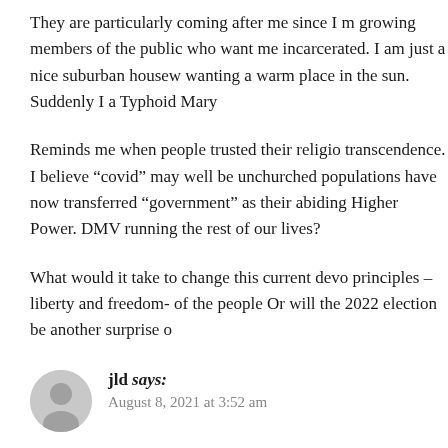They are particularly coming after me since I m growing members of the public who want me incarcerated. I am just a nice suburban housew wanting a warm place in the sun. Suddenly I a Typhoid Mary
Reminds me when people trusted their religio transcendence. I believe “covid” may well be unchurched populations have now transferred “government” as their abiding Higher Power. DMV running the rest of our lives?
What would it take to change this current devo principles – liberty and freedom- of the people Or will the 2022 election be another surprise o
jld says:
August 8, 2021 at 3:52 am